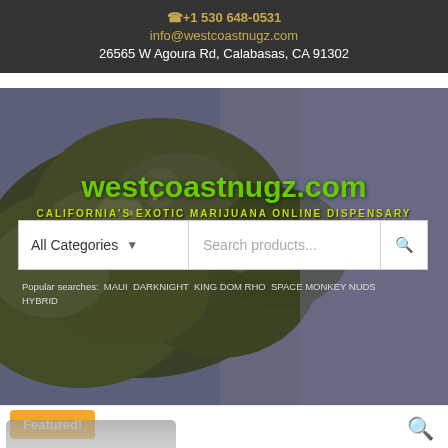☎+1 530 648-0531
info@westcoastnugz.com
26565 W Agoura Rd, Calabasas, CA 91302
[Figure (photo): Close-up photo of cannabis bud (marijuana flower) on a purple background, used as hero banner image]
westcoastnugz.com
CALIFORNIA'S EXOTIC MARIJUANA ONLINE DISPENSARY
All Categories   Search products...
Popular searches: MAUI DARKNIGHT MIND RINGO SPACE MONKEY NUDS HYBRID
0  $0.00  Menu
Featured!